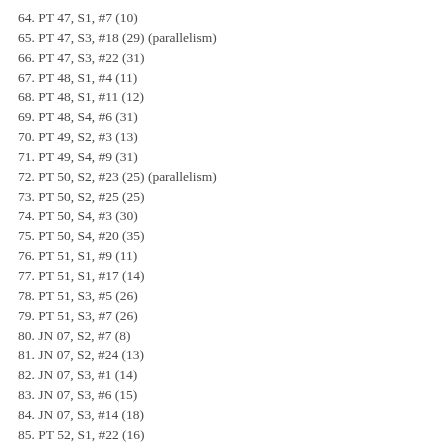64. PT 47, S1, #7 (10)
65. PT 47, S3, #18 (29) (parallelism)
66. PT 47, S3, #22 (31)
67. PT 48, S1, #4 (11)
68. PT 48, S1, #11 (12)
69. PT 48, S4, #6 (31)
70. PT 49, S2, #3 (13)
71. PT 49, S4, #9 (31)
72. PT 50, S2, #23 (25) (parallelism)
73. PT 50, S2, #25 (25)
74. PT 50, S4, #3 (30)
75. PT 50, S4, #20 (35)
76. PT 51, S1, #9 (11)
77. PT 51, S1, #17 (14)
78. PT 51, S3, #5 (26)
79. PT 51, S3, #7 (26)
80. JN 07, S2, #7 (8)
81. JN 07, S2, #24 (13)
82. JN 07, S3, #1 (14)
83. JN 07, S3, #6 (15)
84. JN 07, S3, #14 (18)
85. PT 52, S1, #22 (16)